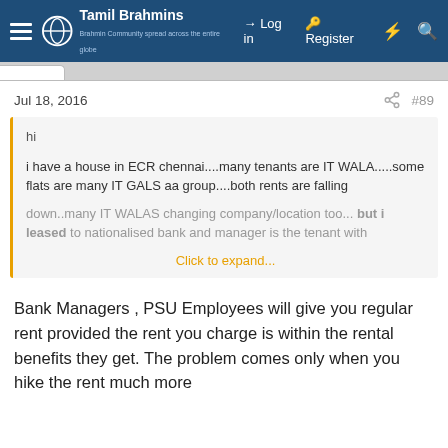Tamil Brahmins — Log in | Register
Jul 18, 2016  #89
hi

i have a house in ECR chennai....many tenants are IT WALA.....some flats are many IT GALS aa group....both rents are falling

down..many IT WALAS changing company/location too... but i leased to nationalised bank and manager is the tenant with

Click to expand...
Bank Managers , PSU Employees will give you regular rent provided the rent you charge is within the rental benefits they get. The problem comes only when you hike the rent much more